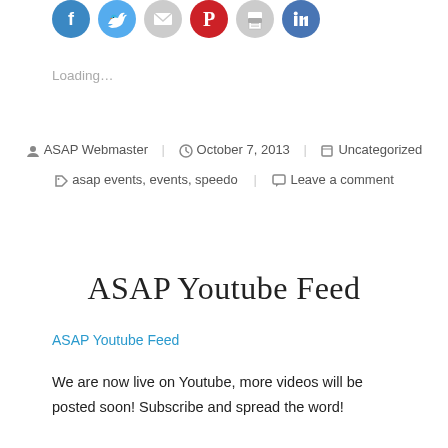[Figure (other): Row of social media share icon buttons: Facebook (blue circle), Twitter (blue circle), Email (gray circle), Pinterest (red circle), Print (gray circle), LinkedIn (blue circle)]
Loading…
ASAP Webmaster  October 7, 2013  Uncategorized
asap events, events, speedo  Leave a comment
ASAP Youtube Feed
ASAP Youtube Feed
We are now live on Youtube, more videos will be posted soon!  Subscribe and spread the word!